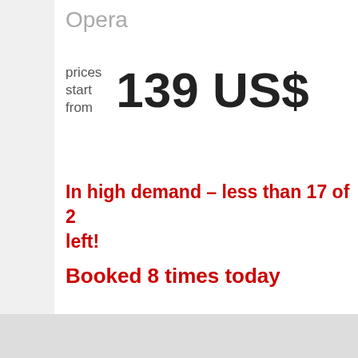Opera
prices start from 139 US$
In high demand – less than 17 of 2 left!
Booked 8 times today
VIEW TICKETS